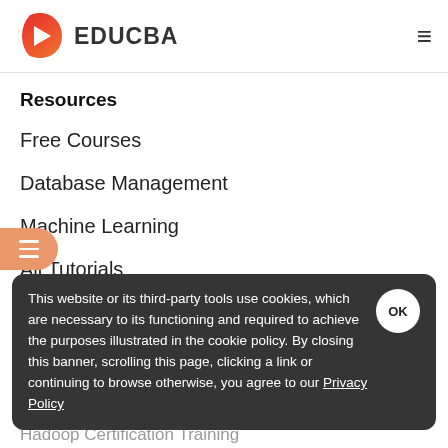EDUCBA
Resources
Free Courses
Database Management
Machine Learning
All Tutorials
Certification Courses
This website or its third-party tools use cookies, which are necessary to its functioning and required to achieve the purposes illustrated in the cookie policy. By closing this banner, scrolling this page, clicking a link or continuing to browse otherwise, you agree to our Privacy Policy
Hadoop Certification Training